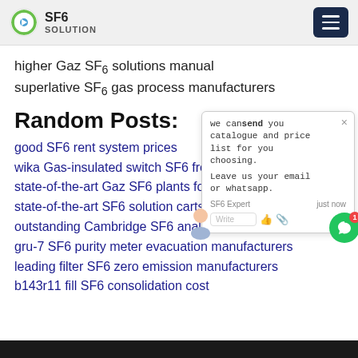SF6 SOLUTION
higher Gaz SF6 solutions manual superlative SF6 gas process manufacturers
Random Posts:
good SF6 rent system prices
wika Gas-insulated switch SF6 free man…
state-of-the-art Gaz SF6 plants for sale
state-of-the-art SF6 solution carts for ca…
outstanding Cambridge SF6 analyzer pricing
gru-7 SF6 purity meter evacuation manufacturers
leading filter SF6 zero emission manufacturers
b143r11 fill SF6 consolidation cost
[Figure (screenshot): Chat popup widget with message: we can send you catalogue and price list for you choosing. Leave us your email or whatsapp. SF6 Expert just now. Write input with thumbs up and paperclip icons. Green chat bubble button with red badge showing 1.]